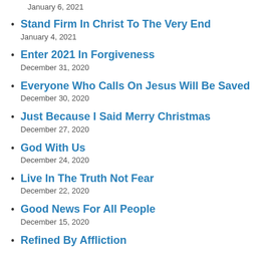January 6, 2021
Stand Firm In Christ To The Very End
January 4, 2021
Enter 2021 In Forgiveness
December 31, 2020
Everyone Who Calls On Jesus Will Be Saved
December 30, 2020
Just Because I Said Merry Christmas
December 27, 2020
God With Us
December 24, 2020
Live In The Truth Not Fear
December 22, 2020
Good News For All People
December 15, 2020
Refined By Affliction